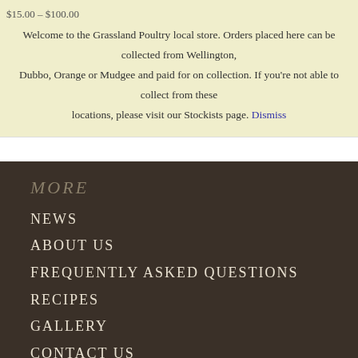$15.00 – $100.00
Welcome to the Grassland Poultry local store. Orders placed here can be collected from Wellington, Dubbo, Orange or Mudgee and paid for on collection. If you're not able to collect from these locations, please visit our Stockists page. Dismiss
MORE
NEWS
ABOUT US
FREQUENTLY ASKED QUESTIONS
RECIPES
GALLERY
CONTACT US